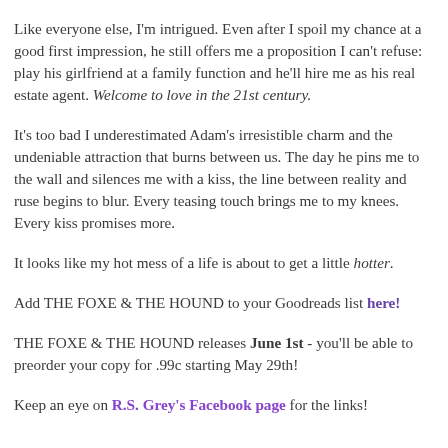neglected tomcats in for weekly checkups.
Like everyone else, I'm intrigued. Even after I spoil my chance at a good first impression, he still offers me a proposition I can't refuse: play his girlfriend at a family function and he'll hire me as his real estate agent. Welcome to love in the 21st century.
It's too bad I underestimated Adam's irresistible charm and the undeniable attraction that burns between us. The day he pins me to the wall and silences me with a kiss, the line between reality and ruse begins to blur. Every teasing touch brings me to my knees. Every kiss promises more.
It looks like my hot mess of a life is about to get a little hotter.
Add THE FOXE & THE HOUND to your Goodreads list here!
THE FOXE & THE HOUND releases June 1st - you'll be able to preorder your copy for .99c starting May 29th!
Keep an eye on R.S. Grey's Facebook page for the links!